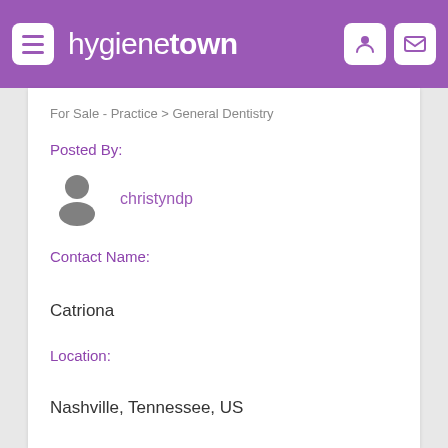hygienetown
For Sale - Practice > General Dentistry
Posted By:
[Figure (illustration): Generic user avatar icon in gray]
christyndp
Contact Name:
Catriona
Location:
Nashville, Tennessee, US